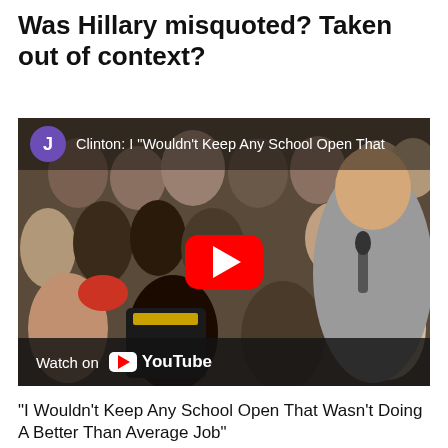Was Hillary misquoted? Taken out of context?
[Figure (screenshot): YouTube video thumbnail showing Hillary Clinton speaking at a campaign event with a crowd of supporters behind her. The video title reads 'Clinton: I "Wouldn’t Keep Any School Open That'. A red YouTube play button overlay is in the center. The bottom bar shows 'Watch on YouTube' with the YouTube logo.]
"I Wouldn't Keep Any School Open That Wasn't Doing A Better Than Average Job"